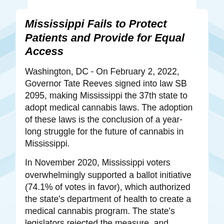Mississippi Fails to Protect Patients and Provide for Equal Access
Washington, DC - On February 2, 2022, Governor Tate Reeves signed into law SB 2095, making Mississippi the 37th state to adopt medical cannabis laws. The adoption of these laws is the conclusion of a year-long struggle for the future of cannabis in Mississippi.
In November 2020, Mississippi voters overwhelmingly supported a ballot initiative (74.1% of votes in favor), which authorized the state's department of health to create a medical cannabis program. The state's legislators rejected the measure, and instead sought to pass a weakened version of the law. On January 26, 2022, the state